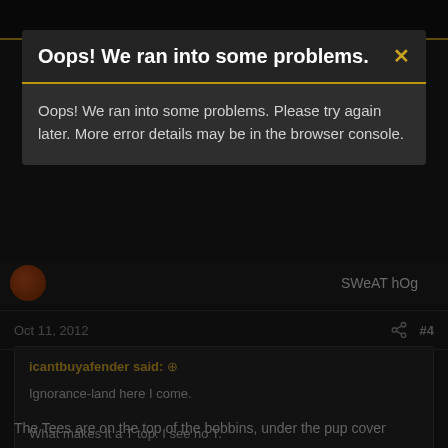Oops! We ran into some problems.
Oops! We ran into some problems. Please try again later. More error details may be in the browser console.
SWeAT hOg
Oct 11, 2012
#4
icantbuyafender said:
Ignorance-land here I come.

What makes it a T top. I see no T.
Never understood it.

What does it matter the age of the T top anyhow?
The Tees are on the top of the bobbins, under the pup cover